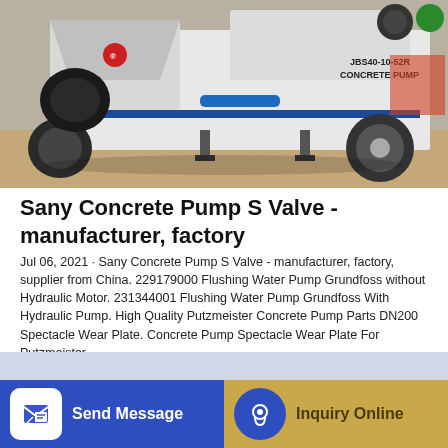[Figure (photo): Photograph of a Sany JBS40-10-52R concrete pump trailer with white body, blue piping, and large wheels, parked on a dirt/gravel surface.]
Sany Concrete Pump S Valve - manufacturer, factory
Jul 06, 2021 · Sany Concrete Pump S Valve - manufacturer, factory, supplier from China. 229179000 Flushing Water Pump Grundfoss without Hydraulic Motor. 231344001 Flushing Water Pump Grundfoss With Hydraulic Pump. High Quality Putzmeister Concrete Pump Parts DN200 Spectacle Wear Plate. Concrete Pump Spectacle Wear Plate For Putzmeister.
GET A QUOTE
Send Message
Inquiry Online